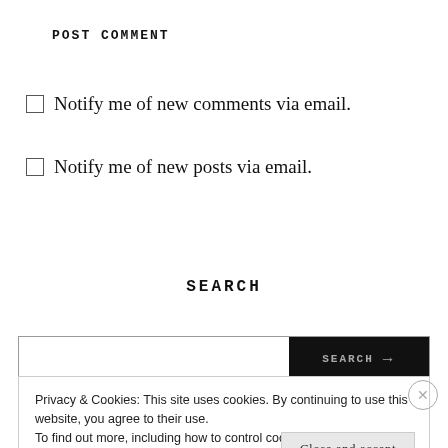POST COMMENT
Notify me of new comments via email.
Notify me of new posts via email.
SEARCH
[Figure (screenshot): Search bar with text input field and dark SEARCH button with arrow]
Privacy & Cookies: This site uses cookies. By continuing to use this website, you agree to their use.
To find out more, including how to control cookies, see here: Cookie Policy
Close and accept